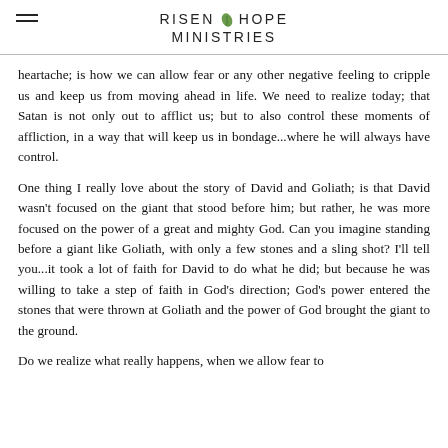RISEN HOPE MINISTRIES
heartache; is how we can allow fear or any other negative feeling to cripple us and keep us from moving ahead in life. We need to realize today; that Satan is not only out to afflict us; but to also control these moments of affliction, in a way that will keep us in bondage...where he will always have control.
One thing I really love about the story of David and Goliath; is that David wasn't focused on the giant that stood before him; but rather, he was more focused on the power of a great and mighty God. Can you imagine standing before a giant like Goliath, with only a few stones and a sling shot? I'll tell you...it took a lot of faith for David to do what he did; but because he was willing to take a step of faith in God's direction; God's power entered the stones that were thrown at Goliath and the power of God brought the giant to the ground.
Do we realize what really happens, when we allow fear to